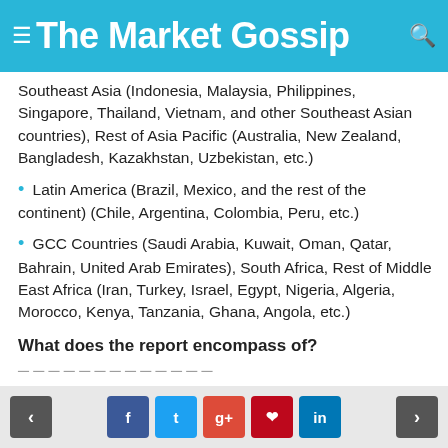The Market Gossip
Southeast Asia (Indonesia, Malaysia, Philippines, Singapore, Thailand, Vietnam, and other Southeast Asian countries), Rest of Asia Pacific (Australia, New Zealand, Bangladesh, Kazakhstan, Uzbekistan, etc.)
• Latin America (Brazil, Mexico, and the rest of the continent) (Chile, Argentina, Colombia, Peru, etc.)
• GCC Countries (Saudi Arabia, Kuwait, Oman, Qatar, Bahrain, United Arab Emirates), South Africa, Rest of Middle East Africa (Iran, Turkey, Israel, Egypt, Nigeria, Algeria, Morocco, Kenya, Tanzania, Ghana, Angola, etc.)
What does the report encompass of?